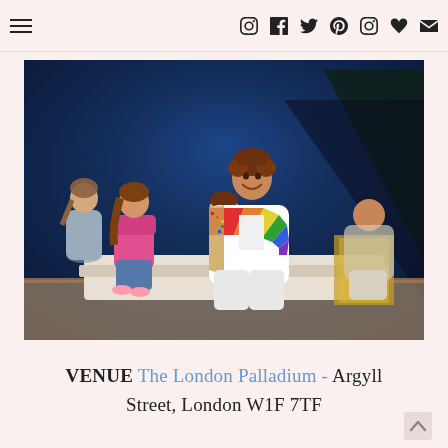Navigation bar with hamburger menu icon and social media icons: Instagram, Facebook, Twitter, Pinterest, Instagram, Heart, Email
[Figure (photo): Stage production photo showing actors in a theatrical performance. A young man in the center wears a colorful rainbow-patterned jacket and sits on a white prop, smiling broadly. Three children in casual clothes (jeans, pink jacket) sit beside him on a stage with a dark blue backdrop. Scene appears to be from the musical Joseph and the Amazing Technicolor Dreamcoat at the London Palladium.]
VENUE The London Palladium - Argyll Street, London W1F 7TF